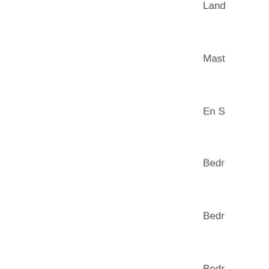Land
Mast
En S
Bedr
Bedr
Bedr
Bath
Copy
SHAR
[Figure (logo): Facebook circular icon, blue background with white f logo]
FEAT